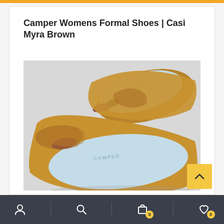Camper Womens Formal Shoes | Casi Myra Brown
[Figure (photo): Close-up photo of a pair of brown (tan/mustard) Camper flat ballet shoes with light blue insoles showing the Camper brand name, photographed from above on a light gray background.]
Navigation bar with user, search, cart (0), and wishlist (0) icons